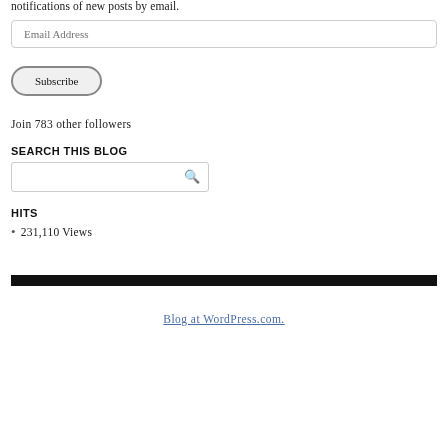notifications of new posts by email.
Email Address
Subscribe
Join 783 other followers
SEARCH THIS BLOG
HITS
231,110 Views
Blog at WordPress.com.